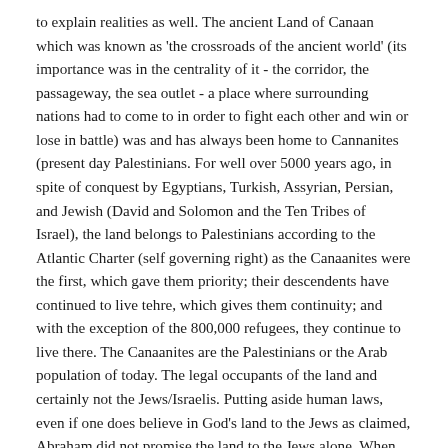to explain realities as well. The ancient Land of Canaan which was known as 'the crossroads of the ancient world' (its importance was in the centrality of it - the corridor, the passageway, the sea outlet - a place where surrounding nations had to come to in order to fight each other and win or lose in battle) was and has always been home to Cannanites (present day Palestinians. For well over 5000 years ago, in spite of conquest by Egyptians, Turkish, Assyrian, Persian, and Jewish (David and Solomon and the Ten Tribes of Israel), the land belongs to Palestinians according to the Atlantic Charter (self governing right) as the Canaanites were the first, which gave them priority; their descendents have continued to live tehre, which gives them continuity; and with the exception of the 800,000 refugees, they continue to live there. The Canaanites are the Palestinians or the Arab population of today. The legal occupants of the land and certainly not the Jews/Israelis. Putting aside human laws, even if one does believe in God's land to the Jews as claimed, Abraham did not promise the land to the Jews alone. When Abraham made a